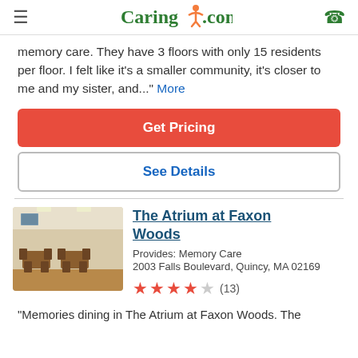Caring.com
memory care. They have 3 floors with only 15 residents per floor. I felt like it's a smaller community, it's closer to me and my sister, and..." More
Get Pricing
See Details
The Atrium at Faxon Woods
Provides: Memory Care
2003 Falls Boulevard, Quincy, MA 02169
(13) — 4 stars out of 5
"Memories dining in The Atrium at Faxon Woods. The